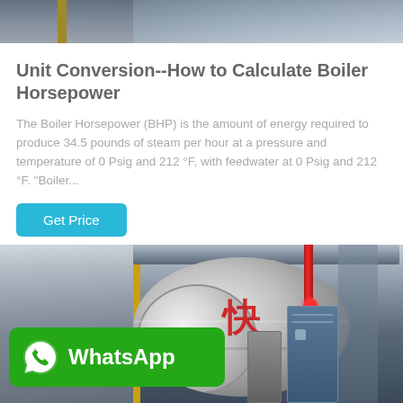[Figure (photo): Top portion of an industrial facility/boiler room photo, showing equipment with a yellow structural element]
Unit Conversion--How to Calculate Boiler Horsepower
The Boiler Horsepower (BHP) is the amount of energy required to produce 34.5 pounds of steam per hour at a pressure and temperature of 0 Psig and 212 °F, with feedwater at 0 Psig and 212 °F. "Boiler...
Get Price
[Figure (photo): Industrial boiler room photo showing a large cylindrical boiler with Chinese character markings, red pipes, control cabinet, and a WhatsApp banner overlay in green]